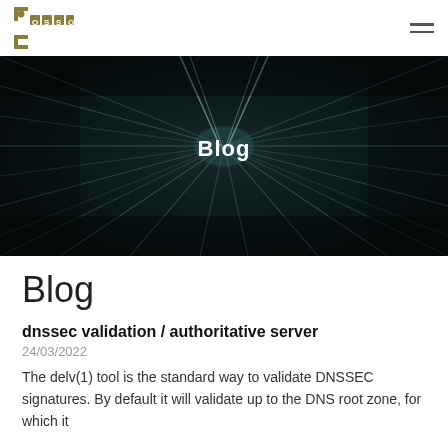OSSO
[Figure (photo): Dark tunnel or corridor with motion blur light trails, perspective leading to vanishing point, with 'Blog' text overlay in white]
Blog
dnssec validation / authoritative server
24/03/2022
The delv(1) tool is the standard way to validate DNSSEC signatures. By default it will validate up to the DNS root zone, for which it